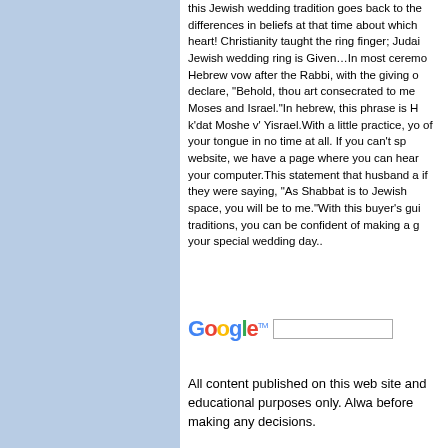this Jewish wedding tradition goes back to the differences in beliefs at that time about which heart! Christianity taught the ring finger; Judai Jewish wedding ring is Given…In most ceremo Hebrew vow after the Rabbi, with the giving o declare, "Behold, thou art consecrated to me Moses and Israel."In hebrew, this phrase is H k'dat Moshe v' Yisrael.With a little practice, yo of your tongue in no time at all. If you can't sp website, we have a page where you can hear your computer.This statement that husband a if they were saying, "As Shabbat is to Jewish space, you will be to me."With this buyer's gui traditions, you can be confident of making a g your special wedding day..
[Figure (logo): Google search bar with colorful Google logo and a text input search box]
All content published on this web site and educational purposes only. Alwa before making any decisions.